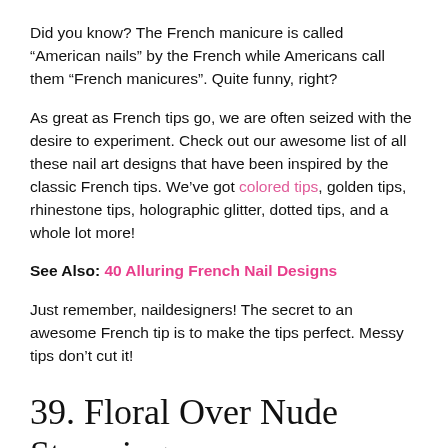Did you know? The French manicure is called “American nails” by the French while Americans call them “French manicures”. Quite funny, right?
As great as French tips go, we are often seized with the desire to experiment. Check out our awesome list of all these nail art designs that have been inspired by the classic French tips. We’ve got colored tips, golden tips, rhinestone tips, holographic glitter, dotted tips, and a whole lot more!
See Also: 40 Alluring French Nail Designs
Just remember, naildesigners! The secret to an awesome French tip is to make the tips perfect. Messy tips don’t cut it!
39. Floral Over Nude Stamping